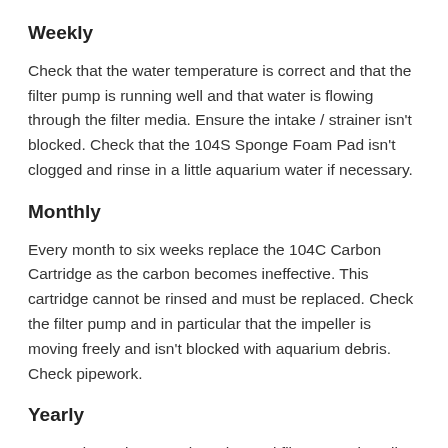Weekly
Check that the water temperature is correct and that the filter pump is running well and that water is flowing through the filter media. Ensure the intake / strainer isn't blocked. Check that the 104S Sponge Foam Pad isn't clogged and rinse in a little aquarium water if necessary.
Monthly
Every month to six weeks replace the 104C Carbon Cartridge as the carbon becomes ineffective. This cartridge cannot be rinsed and must be replaced. Check the filter pump and in particular that the impeller is moving freely and isn't blocked with aquarium debris. Check pipework.
Yearly
It's good practice to replace the 104i filter pump impeller once